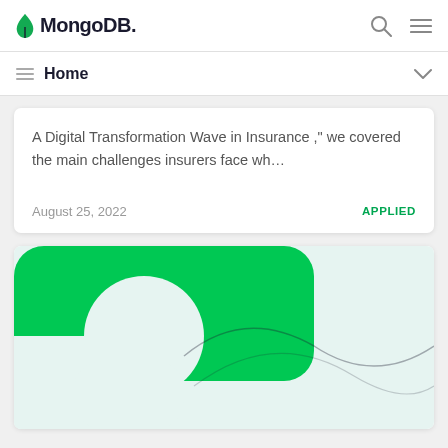MongoDB
Home
A Digital Transformation Wave in Insurance ," we covered the main challenges insurers face wh…
August 25, 2022   APPLIED
[Figure (illustration): Green and light mint abstract geometric illustration with rounded shapes and curved lines, representing a MongoDB branded graphic card]